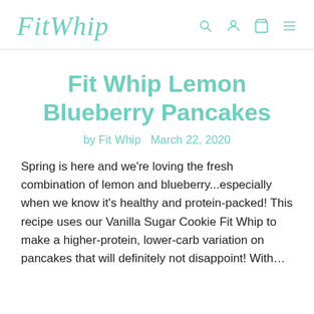FitWhip
Fit Whip Lemon Blueberry Pancakes
by Fit Whip   March 22, 2020
Spring is here and we're loving the fresh combination of lemon and blueberry...especially when we know it's healthy and protein-packed! This recipe uses our Vanilla Sugar Cookie Fit Whip to make a higher-protein, lower-carb variation on pancakes that will definitely not disappoint! With...